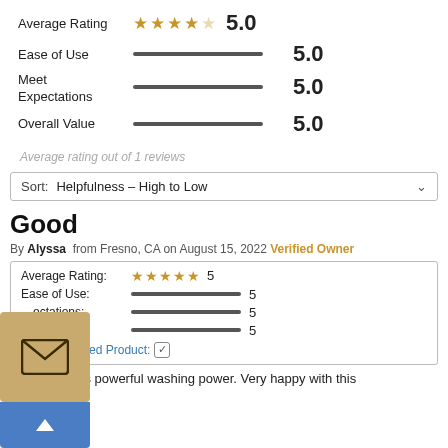[Figure (infographic): Average Rating section showing 4 filled gold stars and 1 empty star with score 5.0, Ease of Use bar with 5.0, Meet Expectations bar with 5.0, Overall Value bar with 5.0]
Average rating out of 1 reviews
Sort: Helpfulness - High to Low
Good
By Alyssa from Fresno, CA on August 15, 2022 Verified Owner
| Category | Rating | Score |
| --- | --- | --- |
| Average Rating: | ★★★★★ | 5 |
| Ease of Use: | —bar— | 5 |
| Expectations: | —bar— | 5 |
| Value: | —bar— | 5 |
Recommended Product: ✓
The unit gives powerful washing power. Very happy with this